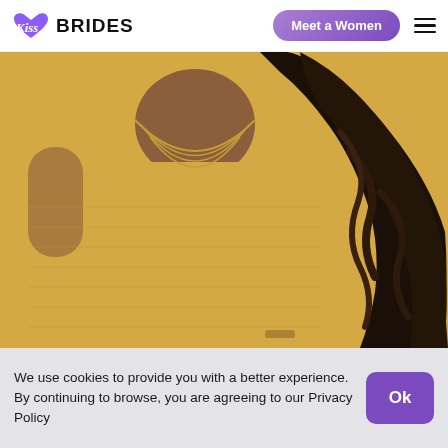Kiss BRIDES | Meet a Women
[Figure (photo): Close-up photo of a woman wearing a yellow knit sweater with long dark wavy hair, yellow background]
We use cookies to provide you with a better experience. By continuing to browse, you are agreeing to our Privacy Policy